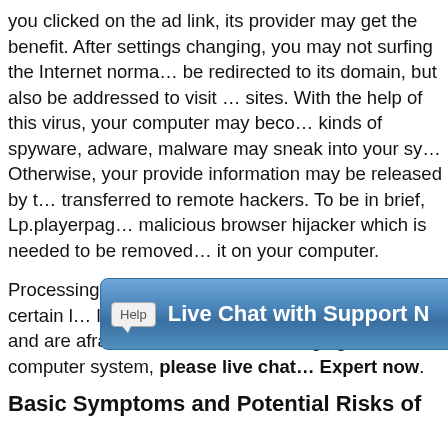you clicked on the ad link, its provider may get the benefit. After settings changing, you may not surfing the Internet normally but be redirected to its domain, but also be addressed to visit other sites. With the help of this virus, your computer may become kinds of spyware, adware, malware may sneak into your system. Otherwise, your provide information may be released by the transferred to remote hackers. To be in brief, Lp.playerpage malicious browser hijacker which is needed to be removed it on your computer.
Processing manual removal is supposed to have a certain level of literacy. If you are not sure how to start and are afraid of making mistakes damaging the computer system, please live chat with Expert now.
[Figure (other): Live Chat with Support button with a Help speech bubble icon on a blue gradient background]
Basic Symptoms and Potential Risks of